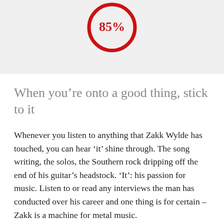[Figure (other): Partial circle/donut indicator showing 85% in red text inside a red circular arc, on a light gray background. Only the top portion of the circle is visible.]
When you're onto a good thing, stick to it
Whenever you listen to anything that Zakk Wylde has touched, you can hear ‘it’ shine through. The song writing, the solos, the Southern rock dripping off the end of his guitar’s headstock. ‘It’: his passion for music. Listen to or read any interviews the man has conducted over his career and one thing is for certain – Zakk is a machine for metal music.